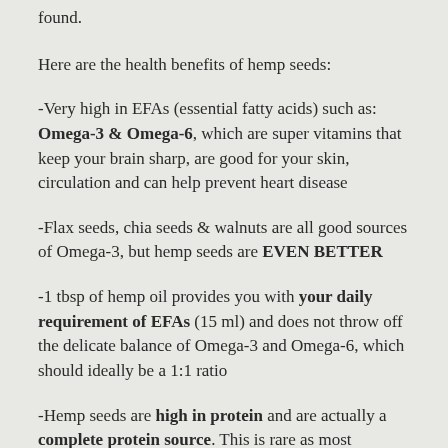found.
Here are the health benefits of hemp seeds:
-Very high in EFAs (essential fatty acids) such as: Omega-3 & Omega-6, which are super vitamins that keep your brain sharp, are good for your skin, circulation and can help prevent heart disease
-Flax seeds, chia seeds & walnuts are all good sources of Omega-3, but hemp seeds are EVEN BETTER
-1 tbsp of hemp oil provides you with your daily requirement of EFAs (15 ml) and does not throw off the delicate balance of Omega-3 and Omega-6, which should ideally be a 1:1 ratio
-Hemp seeds are high in protein and are actually a complete protein source. This is rare as most vegetarian protein sources must be paired with a